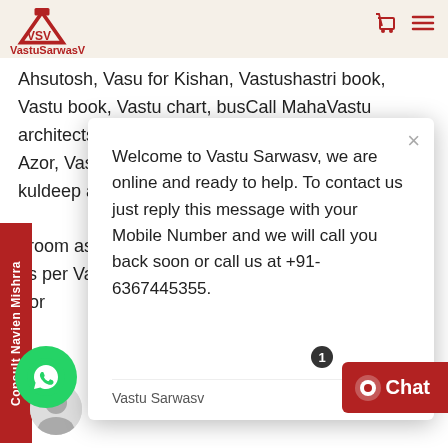VastuSarwasV
Ahsutosh, Vasu for Kishan, Vastushastri book, Vastu book, Vastu chart, busCall MahaVastu architects, Vastu chart Vastushastri chart, Vastu Azor, Vastu app, Vastu astrology, Vastu Abhishek, kuldeep and Cell) Abhi mea a pe vitan High F nd hroom as per Vastu, bedroom as per tu, bedroom as per Vastushastri as per Vastu, drawing room as For
Consult Navien Mishrra
Welcome to Vastu Sarwasv, we are online and ready to help. To contact us just reply this message with your Mobile Number and we will call you back soon or call us at +91-6367445355.
Vastu Sarwasv	just now